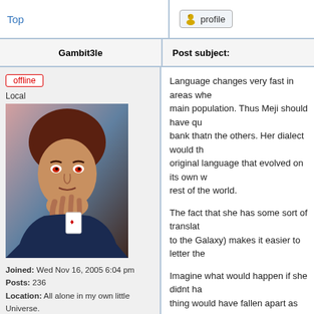Top | profile
| Gambit3le | Post subject: |
| --- | --- |
| [offline]
Local
[avatar image]
Joined: Wed Nov 16, 2005 6:04 pm
Posts: 236
Location: All alone in my own little Universe. | Language changes very fast in areas whe... main population. Thus Meji should have qu... bank thatn the others. Her dialect would th... original language that evolved on its own w... rest of the world.

The fact that she has some sort of translat... to the Galaxy) makes it easier to letter the...

Imagine what would happen if she didnt ha... thing would have fallen apart as soon as s... asked where the restroom was. (which mi... moment).

Hell, what dialect does Ellis speak?

yins guys get replyin to this here thang see...

_________________
Gambit is our middle name. |